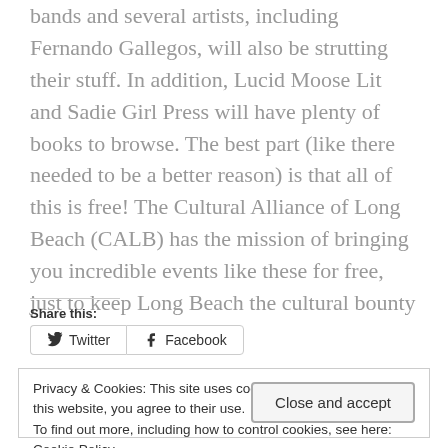bands and several artists, including Fernando Gallegos, will also be strutting their stuff. In addition, Lucid Moose Lit and Sadie Girl Press will have plenty of books to browse. The best part (like there needed to be a better reason) is that all of this is free! The Cultural Alliance of Long Beach (CALB) has the mission of bringing you incredible events like these for free, just to keep Long Beach the cultural bounty it is.
Share this:
[Figure (other): Share buttons for Twitter and Facebook]
Privacy & Cookies: This site uses cookies. By continuing to use this website, you agree to their use.
To find out more, including how to control cookies, see here: Cookie Policy
Close and accept